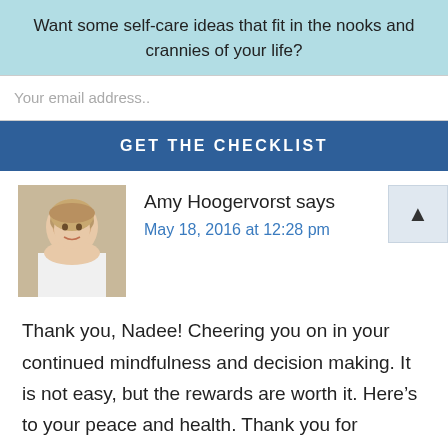Want some self-care ideas that fit in the nooks and crannies of your life?
Your email address..
GET THE CHECKLIST
Amy Hoogervorst says
May 18, 2016 at 12:28 pm
[Figure (photo): Headshot of Amy Hoogervorst, a woman with short blonde hair wearing a white top, smiling]
Thank you, Nadee! Cheering you on in your continued mindfulness and decision making. It is not easy, but the rewards are worth it. Here’s to your peace and health. Thank you for commenting.